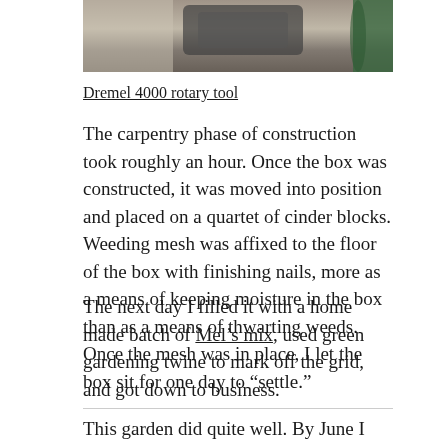[Figure (photo): Partial top of an image showing a Dremel 4000 rotary tool on a stone/concrete surface]
Dremel 4000 rotary tool
The carpentry phase of construction took roughly an hour. Once the box was constructed, it was moved into position and placed on a quartet of cinder blocks. Weeding mesh was affixed to the floor of the box with finishing nails, more as a means of keeping moisture in the box than as a means of thwarting weeds. Once the mesh was in place, I let the box sit for one day to “settle.”
The next day I filled it with a home made batch of Mel’s mix, used green gardening twine to mark off the grid, and got down to business.
This garden did quite well. By June I had added a